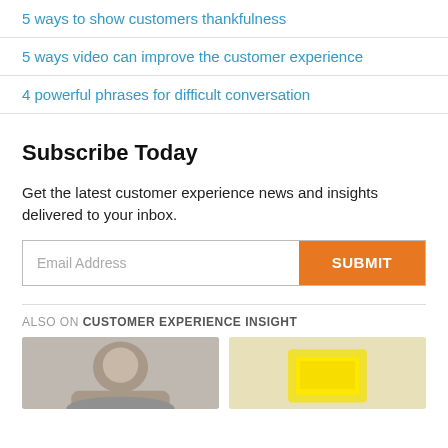5 ways to show customers thankfulness
5 ways video can improve the customer experience
4 powerful phrases for difficult conversation
Subscribe Today
Get the latest customer experience news and insights delivered to your inbox.
Email Address | SUBMIT
ALSO ON CUSTOMER EXPERIENCE INSIGHT